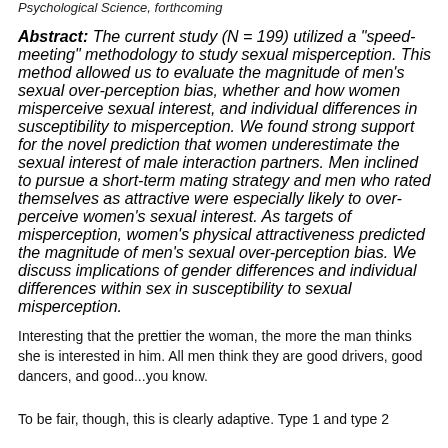Psychological Science, forthcoming
Abstract: The current study (N = 199) utilized a "speed-meeting" methodology to study sexual misperception. This method allowed us to evaluate the magnitude of men's sexual over-perception bias, whether and how women misperceive sexual interest, and individual differences in susceptibility to misperception. We found strong support for the novel prediction that women underestimate the sexual interest of male interaction partners. Men inclined to pursue a short-term mating strategy and men who rated themselves as attractive were especially likely to over-perceive women's sexual interest. As targets of misperception, women's physical attractiveness predicted the magnitude of men's sexual over-perception bias. We discuss implications of gender differences and individual differences within sex in susceptibility to sexual misperception.
Interesting that the prettier the woman, the more the man thinks she is interested in him. All men think they are good drivers, good dancers, and good...you know.
To be fair, though, this is clearly adaptive. Type 1 and type 2